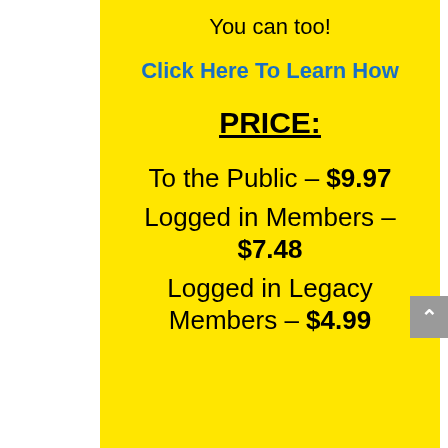You can too!
Click Here To Learn How
PRICE:
To the Public – $9.97
Logged in Members – $7.48
Logged in Legacy Members – $4.99